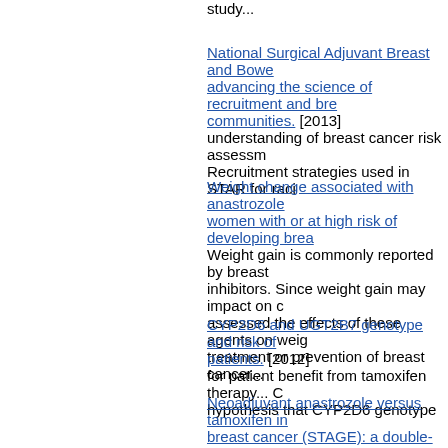study...
National Surgical Adjuvant Breast and Bowel advancing the science of recruitment and breast cancer in communities. [2013] understanding of breast cancer risk assessment... Recruitment strategies used in STAR for raci...
Weight change associated with anastrozole women with or at high risk of developing breast cancer. Weight gain is commonly reported by breast cancer patients taking aromatase inhibitors. Since weight gain may impact on compliance, assessed the effects of these agents on weight in the treatment or prevention of breast cancer...
CYP2D6 and UGT2B7 genotype and risk of patients. [2012] for patient benefit from tamoxifen therapy... hypothesis that CYP2D6 genotype
Neoadjuvant anastrozole versus tamoxifen in breast cancer (STAGE): a double-blind, randomized goserelin for early breast cancer in the neoadjuvant favourable risk-benefit profile, the combination...